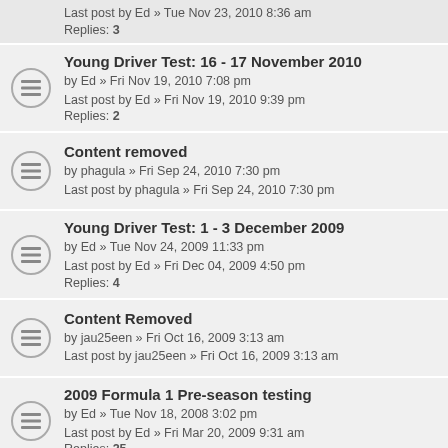Last post by Ed » Tue Nov 23, 2010 8:36 am
Replies: 3
Young Driver Test: 16 - 17 November 2010
by Ed » Fri Nov 19, 2010 7:08 pm
Last post by Ed » Fri Nov 19, 2010 9:39 pm
Replies: 2
Content removed
by phagula » Fri Sep 24, 2010 7:30 pm
Last post by phagula » Fri Sep 24, 2010 7:30 pm
Young Driver Test: 1 - 3 December 2009
by Ed » Tue Nov 24, 2009 11:33 pm
Last post by Ed » Fri Dec 04, 2009 4:50 pm
Replies: 4
Content Removed
by jau25een » Fri Oct 16, 2009 3:13 am
Last post by jau25een » Fri Oct 16, 2009 3:13 am
2009 Formula 1 Pre-season testing
by Ed » Tue Nov 18, 2008 3:02 pm
Last post by Ed » Fri Mar 20, 2009 9:31 am
Replies: 25